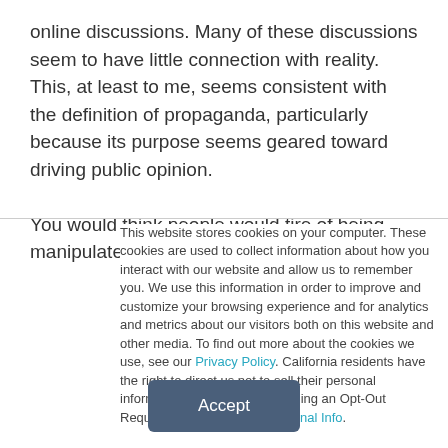online discussions. Many of these discussions seem to have little connection with reality. This, at least to me, seems consistent with the definition of propaganda, particularly because its purpose seems geared toward driving public opinion.

You would think people would tire of being manipulated by
This website stores cookies on your computer. These cookies are used to collect information about how you interact with our website and allow us to remember you. We use this information in order to improve and customize your browsing experience and for analytics and metrics about our visitors both on this website and other media. To find out more about the cookies we use, see our Privacy Policy. California residents have the right to direct us not to sell their personal information to third parties by filing an Opt-Out Request: Do Not Sell My Personal Info.